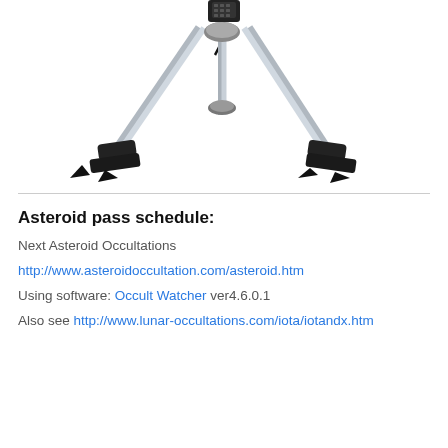[Figure (photo): Photograph of a telescope tripod/mount with three legs spread outward, seen from below, with a hand controller cable visible at the top. Metal legs with black plastic foot brackets.]
Asteroid pass schedule:
Next Asteroid Occultations
http://www.asteroidoccultation.com/asteroid.htm
Using software: Occult Watcher ver4.6.0.1
Also see http://www.lunar-occultations.com/iota/iotandx.htm